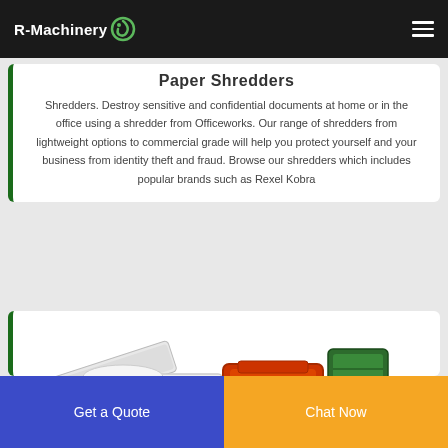R-Machinery
Paper Shredders
Shredders. Destroy sensitive and confidential documents at home or in the office using a shredder from Officeworks. Our range of shredders from lightweight options to commercial grade will help you protect yourself and your business from identity theft and fraud. Browse our shredders which includes popular brands such as Rexel Kobra
[Figure (photo): Industrial paper shredder machine with white, red and green components, conveyor belt and control panel]
Get a Quote
Chat Now